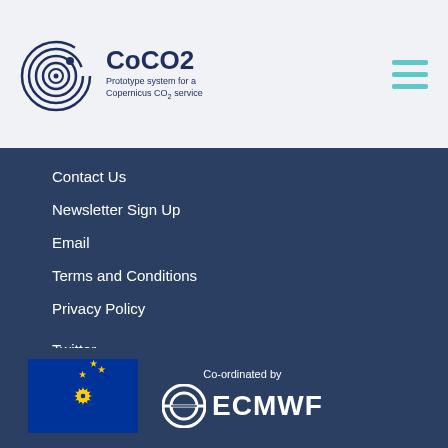Events
[Figure (logo): CoCO2 logo with spiral icon and tagline 'Prototype system for a Copernicus CO2 service']
[Figure (other): Hamburger menu icon (three teal horizontal lines)]
Contact Us
Newsletter Sign Up
Email
Terms and Conditions
Privacy Policy
Twitter
This project has received funding from the European Union's Horizon 2020 research and innovation programme under Grant Agreement No. 958927.
[Figure (logo): European Union flag (blue with circle of yellow stars)]
[Figure (logo): ECMWF logo with 'Co-ordinated by' text above and the ECMWF circular icon and name]